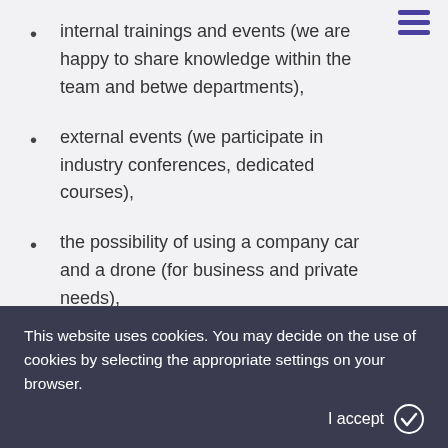internal trainings and events (we are happy to share knowledge within the team and between departments),
external events (we participate in industry conferences, dedicated courses),
the possibility of using a company car and a drone (for business and private needs),
many opportunities to integrate with the hy!Team: we have a carnival party, picnics, we
This website uses cookies. You may decide on the use of cookies by selecting the appropriate settings on your browser.